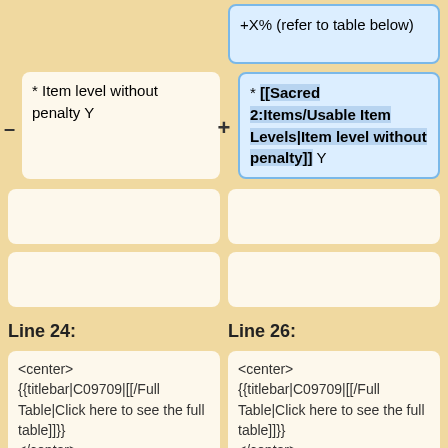+X% (refer to table below)
* Item level without penalty Y
* [[Sacred 2:Items/Usable Item Levels|Item level without penalty]] Y
Line 24:
Line 26:
<center>
{{titlebar|C09709|[[/Full Table|Click here to see the full table]]}}
</center>
<center>
{{titlebar|C09709|[[/Full Table|Click here to see the full table]]}}
</center>